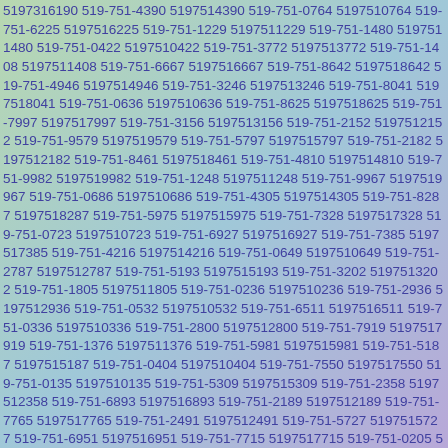5197316190 519-751-4390 5197514390 519-751-0764 5197510764 519-751-6225 5197516225 519-751-1229 5197511229 519-751-1480 5197511480 519-751-0422 5197510422 519-751-3772 5197513772 519-751-1408 5197511408 519-751-6667 5197516667 519-751-8642 5197518642 519-751-4946 5197514946 519-751-3246 5197513246 519-751-8041 5197518041 519-751-0636 5197510636 519-751-8625 5197518625 519-751-7997 5197517997 519-751-3156 5197513156 519-751-2152 5197512152 519-751-9579 5197519579 519-751-5797 5197515797 519-751-2182 5197512182 519-751-8461 5197518461 519-751-4810 5197514810 519-751-9982 5197519982 519-751-1248 5197511248 519-751-9967 5197519967 519-751-0686 5197510686 519-751-4305 5197514305 519-751-8287 5197518287 519-751-5975 5197515975 519-751-7328 5197517328 519-751-0723 5197510723 519-751-6927 5197516927 519-751-7385 5197517385 519-751-4216 5197514216 519-751-0649 5197510649 519-751-2787 5197512787 519-751-5193 5197515193 519-751-3202 5197513202 519-751-1805 5197511805 519-751-0236 5197510236 519-751-2936 5197512936 519-751-0532 5197510532 519-751-6511 5197516511 519-751-0336 5197510336 519-751-2800 5197512800 519-751-7919 5197517919 519-751-1376 5197511376 519-751-5981 5197515981 519-751-5187 5197515187 519-751-0404 5197510404 519-751-7550 5197517550 519-751-0135 5197510135 519-751-5309 5197515309 519-751-2358 5197512358 519-751-6893 5197516893 519-751-2189 5197512189 519-751-7765 5197517765 519-751-2491 5197512491 519-751-5727 5197515727 519-751-6951 5197516951 519-751-7715 5197517715 519-751-0205 5197510205 519-751-1765 5197511765 519-751-...